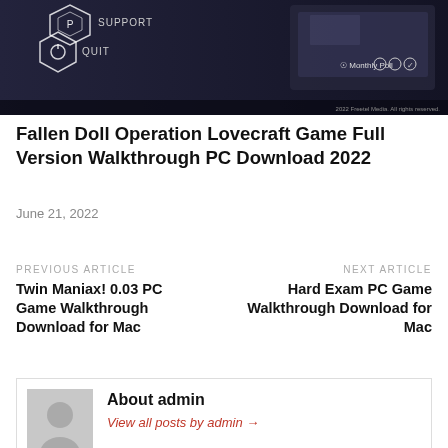[Figure (screenshot): Screenshot of Fallen Doll Operation Lovecraft game showing dark UI with hexagonal icons for SUPPORT and QUIT, a laptop/device in the background, and Monthly Poll icons in the top right.]
Fallen Doll Operation Lovecraft Game Full Version Walkthrough PC Download 2022
June 21, 2022
PREVIOUS ARTICLE
Twin Maniax! 0.03 PC Game Walkthrough Download for Mac
NEXT ARTICLE
Hard Exam PC Game Walkthrough Download for Mac
About admin
View all posts by admin →